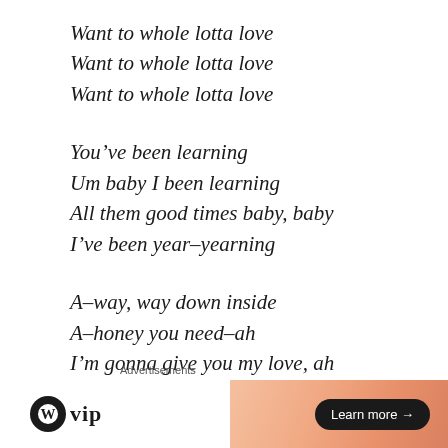Want to whole lotta love
Want to whole lotta love
Want to whole lotta love
You've been learning
Um baby I been learning
All them good times baby, baby
I've been year-yearning
A-way, way down inside
A-honey you need-ah
I'm gonna give you my love, ah
I'm gonna give you my love, ah oh
Advertisements
[Figure (infographic): WordPress VIP advertisement banner with logo on white left side and gradient peach/orange background on right side with a 'Learn more →' button]